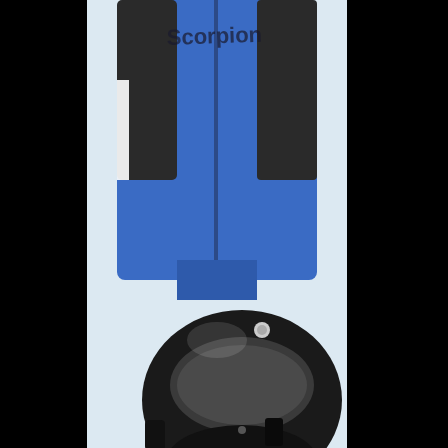[Figure (photo): Screenshot of a webpage showing an Amazon advertisement with a motorcyclist wearing blue and black Scorpion branded riding gear and a black motorcycle helmet. Below the product image is a 'Shop now' link. The page also shows an infolinks/amazon.com attribution bar. At the bottom is a banner advertisement for 'xen' product with text 'LIFE-CHANGING. NOW PRICE CHANGING.' and 'Save $50 SHOP' button on a light blue background. The right and top portions of the page are black (content area not loaded).]
▶ Shop now
Privacy
infolinks
amazon.com
LIFE-CHANGING.
NOW PRICE CHANGING.
xen
Save $50
SHOP